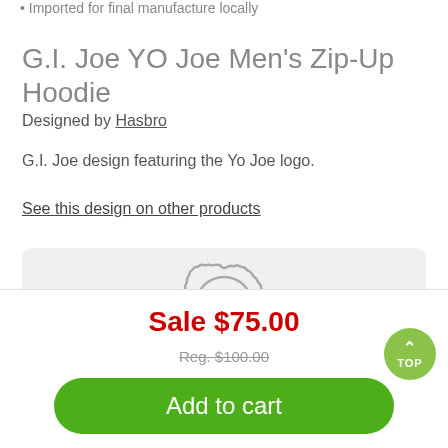Imported for final manufacture locally
G.I. Joe YO Joe Men's Zip-Up Hoodie
Designed by Hasbro
G.I. Joe design featuring the Yo Joe logo.
See this design on other products
[Figure (illustration): Circular badge/seal icon with checkmark, labeled 100% SATISFACTION GUARANTEE]
Sale $75.00
Reg. $100.00
Add to cart